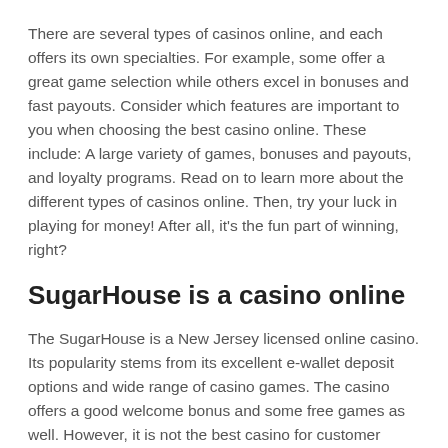There are several types of casinos online, and each offers its own specialties. For example, some offer a great game selection while others excel in bonuses and fast payouts. Consider which features are important to you when choosing the best casino online. These include: A large variety of games, bonuses and payouts, and loyalty programs. Read on to learn more about the different types of casinos online. Then, try your luck in playing for money! After all, it's the fun part of winning, right?
SugarHouse is a casino online
The SugarHouse is a New Jersey licensed online casino. Its popularity stems from its excellent e-wallet deposit options and wide range of casino games. The casino offers a good welcome bonus and some free games as well. However, it is not the best casino for customer support. However, SugarHouse does offer a good welcome bonus. You can win money with SugarHouse without depositing anything.